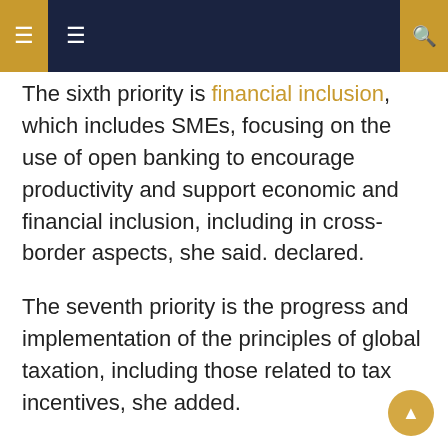navigation header with icons
The sixth priority is financial inclusion, which includes SMEs, focusing on the use of open banking to encourage productivity and support economic and financial inclusion, including in cross-border aspects, she said. declared.
The seventh priority is the progress and implementation of the principles of global taxation, including those related to tax incentives, she added.
Related news: Indonesia unveils strategies to chair 2022 G20 presidency